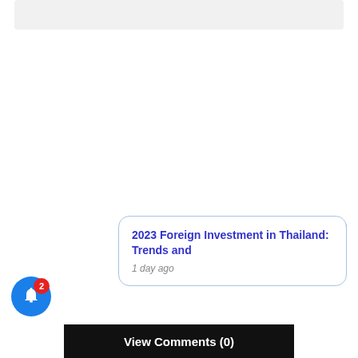[Figure (screenshot): Top grey bar element, part of a web page UI]
2023 Foreign Investment in Thailand: Trends and
1 day ago
X
2
View Comments (0)